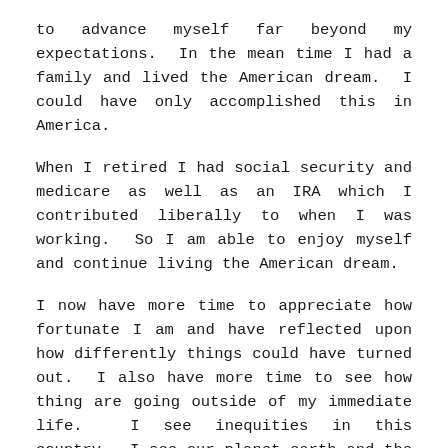to advance myself far beyond my expectations.  In the mean time I had a family and lived the American dream.  I could have only accomplished this in America.
When I retired I had social security and medicare as well as an IRA which I contributed liberally to when I was working.  So I am able to enjoy myself and continue living the American dream.
I now have more time to appreciate how fortunate I am and have reflected upon how differently things could have turned out.  I also have more time to see how thing are going outside of my immediate life.  I see inequities in this country.  I see our planet earth and the delicate balance between survival and annihilation.  I see the pollution and the effects of global warming that this nation and others are contributing to.  I see how these things will affect my